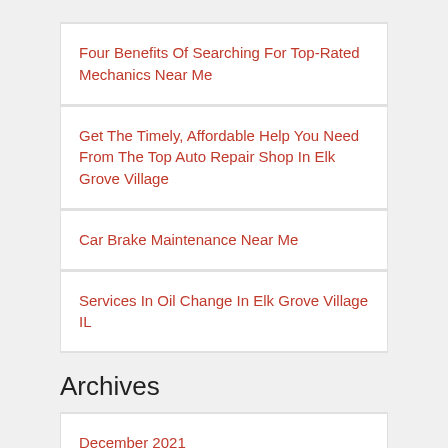Four Benefits Of Searching For Top-Rated Mechanics Near Me
Get The Timely, Affordable Help You Need From The Top Auto Repair Shop In Elk Grove Village
Car Brake Maintenance Near Me
Services In Oil Change In Elk Grove Village IL
Archives
December 2021